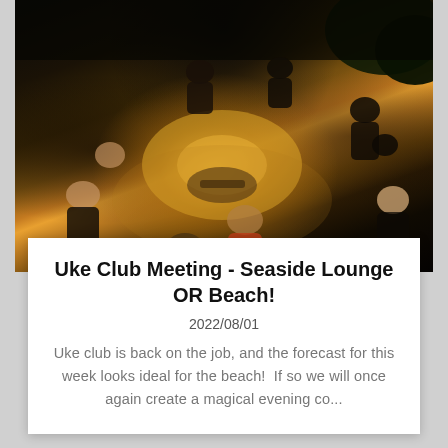[Figure (photo): Overhead night photo of a group of people sitting in a circle on a beach, playing ukuleles and guitars, illuminated by a warm central light source on sand.]
Uke Club Meeting - Seaside Lounge OR Beach!
2022/08/01
Uke club is back on the job, and the forecast for this week looks ideal for the beach!  If so we will once again create a magical evening co...